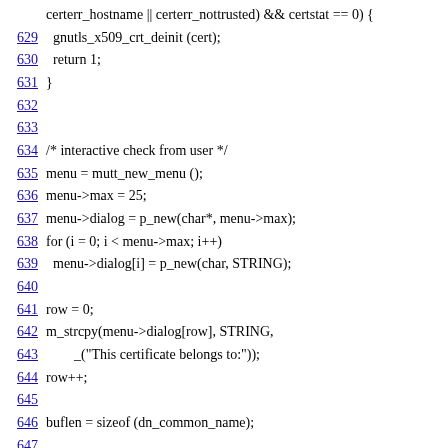source code listing, lines 629-650, C programming language
629    gnutls_x509_crt_deinit (cert);
630    return 1;
631  }
632
633
634  /* interactive check from user */
635  menu = mutt_new_menu ();
636  menu->max = 25;
637  menu->dialog = p_new(char*, menu->max);
638  for (i = 0; i < menu->max; i++)
639    menu->dialog[i] = p_new(char, STRING);
640
641  row = 0;
642  m_strcpy(menu->dialog[row], STRING,
643          _("This certificate belongs to:"));
644  row++;
645
646  buflen = sizeof (dn_common_name);
647
if (gnutls_x509_crt_get_dn_by_oid (cert, GNUTLS_OID_X520_C
648
dn_common_name, (size_t *)&buflen) != 0)
649    dn_common_name[0] = '\0';
650  buflen = sizeof (dn_email);